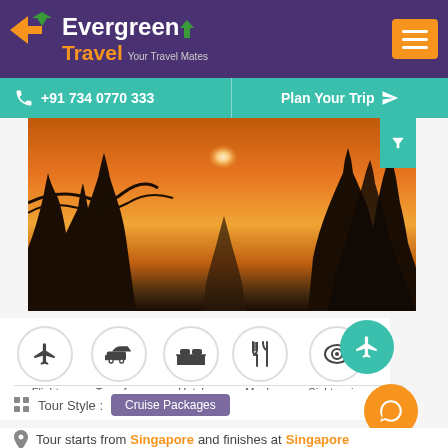[Figure (logo): Evergreen Travel logo with orange plane icon, white 'Evergreen' text, orange 'Travel' text, and tagline 'Your Travel Mates' on purple background]
+91 734 0770 333
Plan Your Trip
[Figure (photo): Sunset photo with orange sky and silhouetted trees]
Flight   Transfers   Hotel   Meals   Sightseeing
Tour Style: Cruise Packages
Tour starts from Singapore and finishes at Singapore